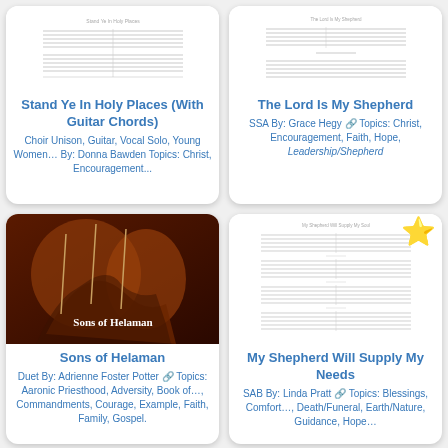[Figure (illustration): Sheet music preview image for Stand Ye In Holy Places]
Stand Ye In Holy Places (With Guitar Chords)
Choir Unison, Guitar, Vocal Solo, Young Women… By: Donna Bawden Topics: Christ, Encouragement...
[Figure (illustration): Sheet music preview for The Lord Is My Shepherd]
The Lord Is My Shepherd
SSA By: Grace Hegy Topics: Christ, Encouragement, Faith, Hope, Leadership/Shepherd
[Figure (photo): Book cover image: Sons of Helaman showing ancient warriors]
Sons of Helaman
Duet By: Adrienne Foster Potter Topics: Aaronic Priesthood, Adversity, Book of…, Commandments, Courage, Example, Faith, Family, Gospel.
[Figure (illustration): Sheet music preview for My Shepherd Will Supply My Needs with gold star badge]
My Shepherd Will Supply My Needs
SAB By: Linda Pratt Topics: Blessings, Comfort…, Death/Funeral, Earth/Nature, Guidance, Hope…